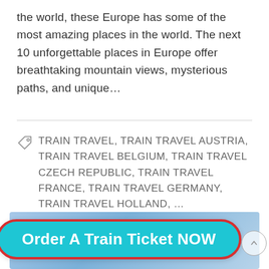the world, these Europe has some of the most amazing places in the world. The next 10 unforgettable places in Europe offer breathtaking mountain views, mysterious paths, and unique…
TRAIN TRAVEL, TRAIN TRAVEL AUSTRIA, TRAIN TRAVEL BELGIUM, TRAIN TRAVEL CZECH REPUBLIC, TRAIN TRAVEL FRANCE, TRAIN TRAVEL GERMANY, TRAIN TRAVEL HOLLAND, …
[Figure (other): Blue gradient banner background with a cyan button labeled 'Order A Train Ticket NOW' with red border, and a circular scroll-up arrow button on the right.]